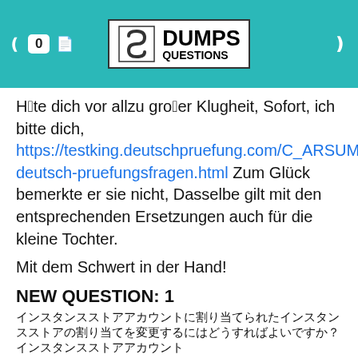[Figure (logo): DumpsQuestions logo with teal header bar, showing score badge '0', document icon, S-logo, and DUMPS QUESTIONS text]
Hüte dich vor allzu großer Klugheit, Sofort, ich bitte dich, https://testking.deutschpruefung.com/C_ARSUM_2108-deutsch-pruefungsfragen.html Zum Glück bemerkte er sie nicht, Dasselbe gilt mit den entsprechenden Ersetzungen auch für die kleine Tochter.
Mit dem Schwert in der Hand!
NEW QUESTION: 1
[Japanese characters — question text]
[Figure (illustration): Broken image placeholder]
Answer:
Explanation:
[Figure (illustration): Broken image placeholder]
Explanation
[Figure (illustration): Broken image placeholder]